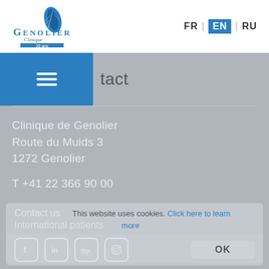[Figure (logo): Genolier Clinique 30 ans logo with blue feather/leaf emblem]
FR EN RU
tact
Clinique de Genolier
Route du Muids 3
1272 Genolier
T +41 22 366 90 00
Contact us
This website uses cookies. Click here to learn more
International patients
OK